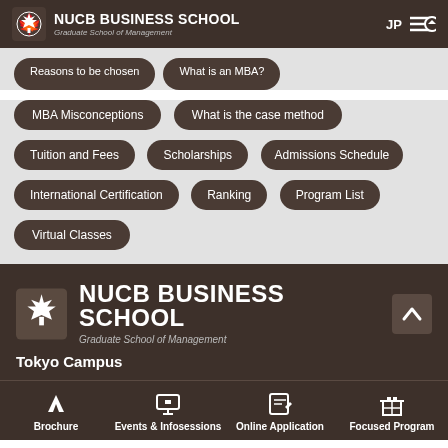NUCB BUSINESS SCHOOL Graduate School of Management
Reasons to be chosen
What is an MBA?
MBA Misconceptions
What is the case method
Tuition and Fees
Scholarships
Admissions Schedule
International Certification
Ranking
Program List
Virtual Classes
[Figure (logo): NUCB Business School logo with maple leaf icon, Graduate School of Management]
Tokyo Campus
Brochure | Events & Infosessions | Online Application | Focused Program